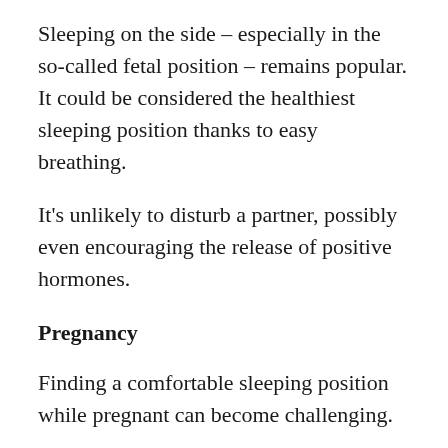Sleeping on the side – especially in the so-called fetal position – remains popular. It could be considered the healthiest sleeping position thanks to easy breathing.
It's unlikely to disturb a partner, possibly even encouraging the release of positive hormones.
Pregnancy
Finding a comfortable sleeping position while pregnant can become challenging.
It's often tempting to sleep on the back to keep pressure off the stomach. As per Early Human Development, this can negatively impact the heart.